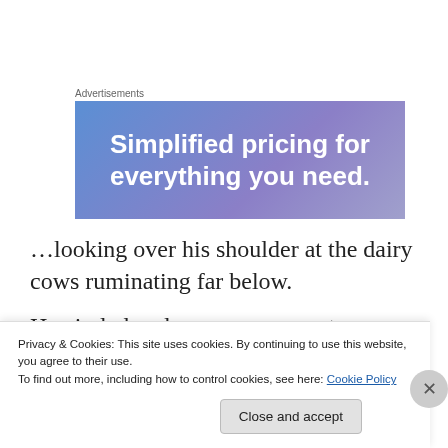Advertisements
[Figure (other): Advertisement banner with gradient blue-purple background reading 'Simplified pricing for everything you need.']
…looking over his shoulder at the dairy cows ruminating far below.
He circled and rose once more to a position above me,
where an unearned trick of the light gave me this gift:
Privacy & Cookies: This site uses cookies. By continuing to use this website, you agree to their use.
To find out more, including how to control cookies, see here: Cookie Policy
Close and accept